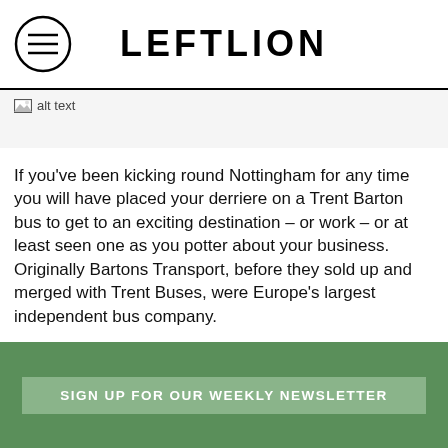LEFTLION
[Figure (other): Broken image placeholder with alt text]
If you've been kicking round Nottingham for any time you will have placed your derriere on a Trent Barton bus to get to an exciting destination – or work – or at least seen one as you potter about your business. Originally Bartons Transport, before they sold up and merged with Trent Buses, were Europe's largest independent bus company.
But why are we giving you a potted history of independent local transport kings? Because the founder's greatgrandson has turned the old Chilwell depot, originally built in 1913, into Nottingham's newest venue, Bartons, and he's not being mingy with
SIGN UP FOR OUR WEEKLY NEWSLETTER